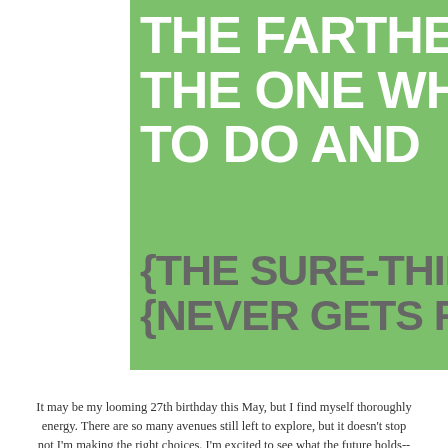[Figure (infographic): Green rectangle background with large white bold uppercase text reading partial lines: 'THE FARTHEST IS G', 'THE ONE WHO IS', 'TO DO AND', and gray bold uppercase text with curly braces: '{THE SURE-THING', '{NEVER GETS FAR FRO']
It may be my looming 27th birthday this May, but I find myself thoroughly energy. There are so many avenues still left to explore, but it doesn't stop not I'm making the right choices. I'm excited to see what the future holds-- crystal ball and see the answers.